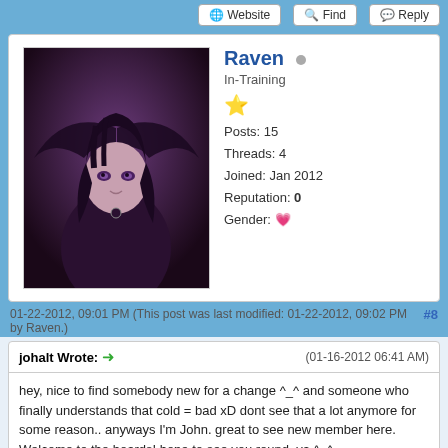Website | Find | Reply
[Figure (illustration): Anime-style avatar of a dark-haired girl with dark wings, used as forum profile picture for user Raven]
Raven
In-Training
⭐
Posts: 15
Threads: 4
Joined: Jan 2012
Reputation: 0
Gender: 💗
01-22-2012, 09:01 PM (This post was last modified: 01-22-2012, 09:02 PM by Raven.)
#8
johalt Wrote:➜
(01-16-2012 06:41 AM)
hey, nice to find somebody new for a change ^_^ and someone who finally understands that cold = bad xD dont see that a lot anymore for some reason.. anyways I'm John. great to see new member here. Welcome to the boards! hope to see you round, ya ^_^
Nice to meet you too :)
LiiMakino Wrote:➜
(01-19-2012 06:42 AM)
I think cold weather is pretty great. lol